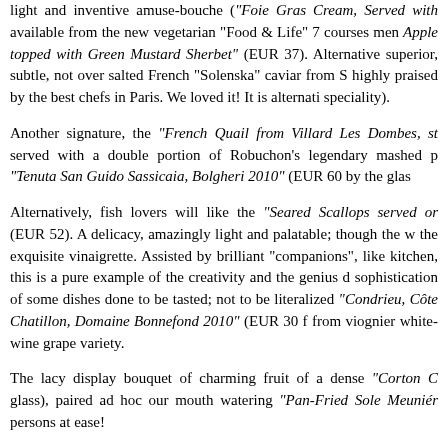light and inventive amuse-bouche ("Foie Gras Cream, Served with available from the new vegetarian "Food & Life" 7 courses men Apple topped with Green Mustard Sherbet" (EUR 37). Alternative superior, subtle, not over salted French "Solenska" caviar from S highly praised by the best chefs in Paris. We loved it! It is alternati speciality).
Another signature, the "French Quail from Villard Les Dombes, st served with a double portion of Robuchon's legendary mashed p "Tenuta San Guido Sassicaia, Bolgheri 2010" (EUR 60 by the glas
Alternatively, fish lovers will like the "Seared Scallops served or (EUR 52). A delicacy, amazingly light and palatable; though the w the exquisite vinaigrette. Assisted by brilliant "companions", like kitchen, this is a pure example of the creativity and the genius d sophistication of some dishes done to be tasted; not to be literalized "Condrieu, Côte Chatillon, Domaine Bonnefond 2010" (EUR 30 from viognier white-wine grape variety.
The lacy display bouquet of charming fruit of a dense "Corton C glass), paired ad hoc our mouth watering "Pan-Fried Sole Meuniér persons at ease!
"-Fromage ou dessert?" (Cheese plate or dessert). We don't like t Both!". We got a "Ewe Tomme Cheese" (EUR 19) traditionally Normandy. Displaying a firm, dense, rich and creamy texture, it su